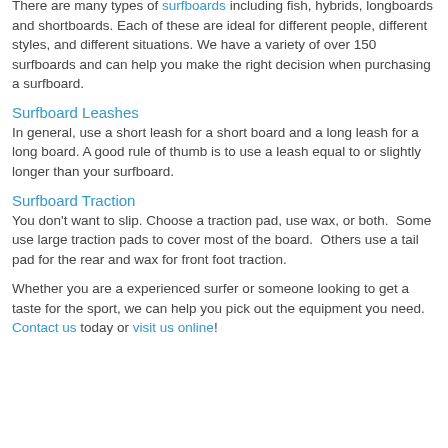There are many types of surfboards including fish, hybrids, longboards and shortboards. Each of these are ideal for different people, different styles, and different situations. We have a variety of over 150 surfboards and can help you make the right decision when purchasing a surfboard.
Surfboard Leashes
In general, use a short leash for a short board and a long leash for a long board. A good rule of thumb is to use a leash equal to or slightly longer than your surfboard.
Surfboard Traction
You don't want to slip. Choose a traction pad, use wax, or both.  Some use large traction pads to cover most of the board.  Others use a tail pad for the rear and wax for front foot traction.
Whether you are a experienced surfer or someone looking to get a taste for the sport, we can help you pick out the equipment you need. Contact us today or visit us online!